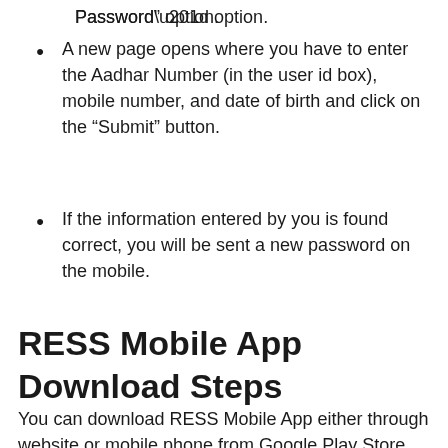Password” option.
A new page opens where you have to enter the Aadhar Number (in the user id box), mobile number, and date of birth and click on the “Submit” button.
If the information entered by you is found correct, you will be sent a new password on the mobile.
RESS Mobile App Download Steps
You can download RESS Mobile App either through website or mobile phone from Google Play Store. For this you have to follow the steps below.